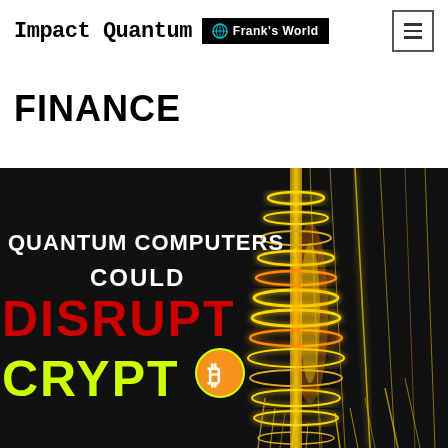Impact Quantum | Frank's World
FINANCE
[Figure (illustration): Dark background image showing a golden quantum computer chandelier-like structure on the right, with text overlay on the left reading 'QUANTUM COMPUTERS COULD DISRUPT CRYPTO' with a Bitcoin symbol. 'DISRUPT' is in red and 'CRYPTO' is in yellow.]